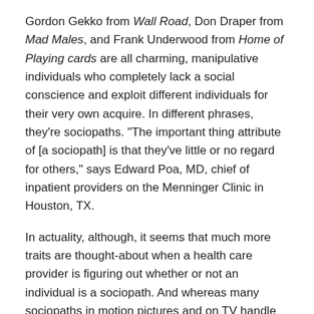Gordon Gekko from Wall Road, Don Draper from Mad Males, and Frank Underwood from Home of Playing cards are all charming, manipulative individuals who completely lack a social conscience and exploit different individuals for their very own acquire. In different phrases, they're sociopaths. "The important thing attribute of [a sociopath] is that they've little or no regard for others," says Edward Poa, MD, chief of inpatient providers on the Menninger Clinic in Houston, TX.
In actuality, although, it seems that much more traits are thought-about when a health care provider is figuring out whether or not an individual is a sociopath. And whereas many sociopaths in motion pictures and on TV handle to show their lives round, that's not at all times the case in actual life.
Right here's all the pieces you must learn about sociopaths—together with learn how to spot one your self.